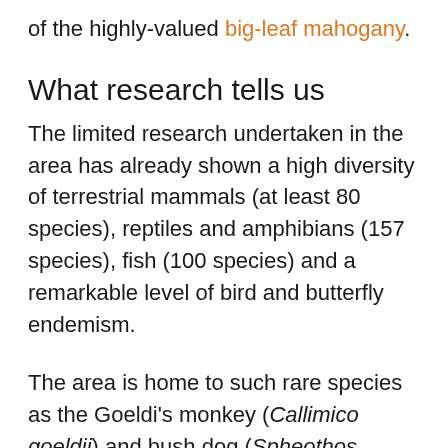of the highly-valued big-leaf mahogany.
What research tells us
The limited research undertaken in the area has already shown a high diversity of terrestrial mammals (at least 80 species), reptiles and amphibians (157 species), fish (100 species) and a remarkable level of bird and butterfly endemism.
The area is home to such rare species as the Goeldi's monkey (Callimico goeldii) and bush dog (Spheothos venaticus), and endangered